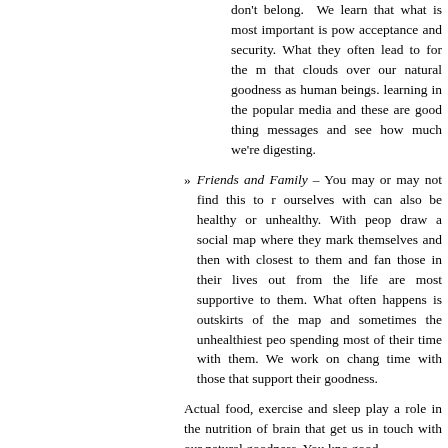don't belong. We learn that what is most important is pow acceptance and security. What they often lead to for the m that clouds over our natural goodness as human beings. learning in the popular media and these are good thing messages and see how much we're digesting.
Friends and Family – You may or may not find this to r ourselves with can also be healthy or unhealthy. With peop draw a social map where they mark themselves and then with closest to them and fan those in their lives out from the life are most supportive to them. What often happens is outskirts of the map and sometimes the unhealthiest peo spending most of their time with them. We work on chan time with those that support their goodness.
Actual food, exercise and sleep play a role in the nutrition of brain that get us in touch with our natural goodness. You kno good.
What are things that get you in touch with your innate goodnes
Please share your thoughts, stories and questions below. Yo wisdom that we all benefit from.
Photo by Quinn Dombrowsky, available under a Creative Comm